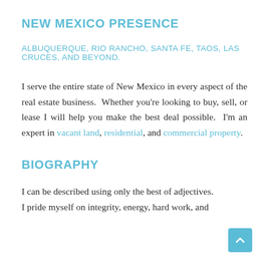NEW MEXICO PRESENCE
ALBUQUERQUE, RIO RANCHO, SANTA FE, TAOS, LAS CRUCES, AND BEYOND.
I serve the entire state of New Mexico in every aspect of the real estate business.  Whether you’re looking to buy, sell, or lease I will help you make the best deal possible.  I’m an expert in vacant land, residential, and commercial property.
BIOGRAPHY
I can be described using only the best of adjectives. I pride myself on integrity, energy, hard work, and